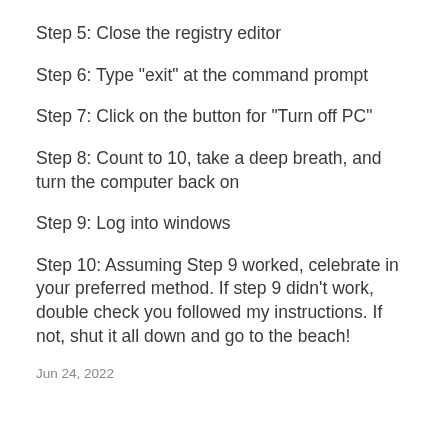Step 5: Close the registry editor
Step 6: Type "exit" at the command prompt
Step 7: Click on the button for "Turn off PC"
Step 8: Count to 10, take a deep breath, and turn the computer back on
Step 9: Log into windows
Step 10: Assuming Step 9 worked, celebrate in your preferred method. If step 9 didn't work, double check you followed my instructions. If not, shut it all down and go to the beach!
Jun 24, 2022